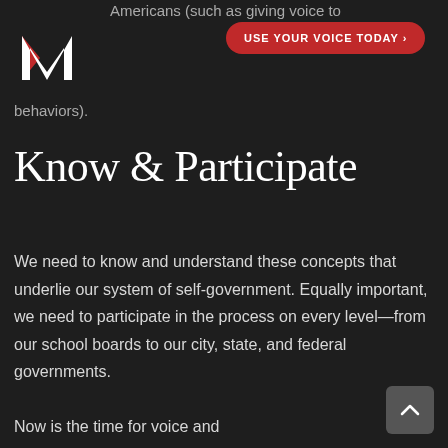Americans (such as giving voice to doctrines that behaviors).
[Figure (logo): M logo — white letter M with red triangular accent on dark background]
USE YOUR VOICE TODAY >
Know & Participate
We need to know and understand these concepts that underlie our system of self-government. Equally important, we need to participate in the process on every level—from our school boards to our city, state, and federal governments.
Now is the time for voice and